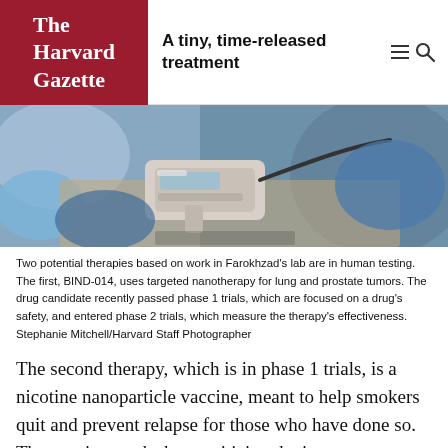The Harvard Gazette — A tiny, time-released treatment
[Figure (photo): Close-up photo of a medical/laboratory handheld device being operated by a person in blue gloves and protective clothing. The device appears to be an ultrasound or similar medical scanner on a surface.]
Two potential therapies based on work in Farokhzad's lab are in human testing. The first, BIND-014, uses targeted nanotherapy for lung and prostate tumors. The drug candidate recently passed phase 1 trials, which are focused on a drug's safety, and entered phase 2 trials, which measure the therapy's effectiveness. Stephanie Mitchell/Harvard Staff Photographer
The second therapy, which is in phase 1 trials, is a nicotine nanoparticle vaccine, meant to help smokers quit and prevent relapse for those who have done so. The vaccine works by sensitizing the immune system to nicotine, a small molecule that normally escapes the immune system on its way to the brain's pleasure